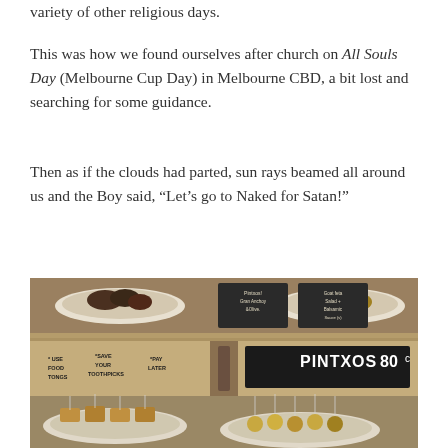variety of other religious days.
This was how we found ourselves after church on All Souls Day (Melbourne Cup Day) in Melbourne CBD, a bit lost and searching for some guidance.
Then as if the clouds had parted, sun rays beamed all around us and the Boy said, “Let’s go to Naked for Satan!”
[Figure (photo): Photo of a Spanish pintxos bar counter showing plates of food with toothpick skewers on the bottom shelf, chalkboard menu signs, and a sign reading 'PINTXOS 80c' with instructions: USE FOOD TONGS, SAVE YOUR TOOTHPICKS, PAY LATER]